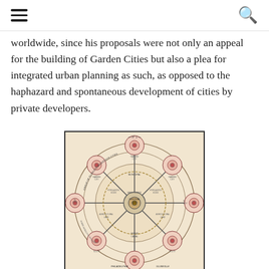[hamburger menu] [search icon]
worldwide, since his proposals were not only an appeal for the building of Garden Cities but also a plea for integrated urban planning as such, as opposed to the haphazard and spontaneous development of cities by private developers.
[Figure (schematic): Ebenezer Howard's diagram No. 1 — Group of Slumless Smokeless Cities, showing a central city connected by railways and canals to six surrounding garden cities arranged in a circle, each represented as a smaller wheel/hub connected to the central city hub.]